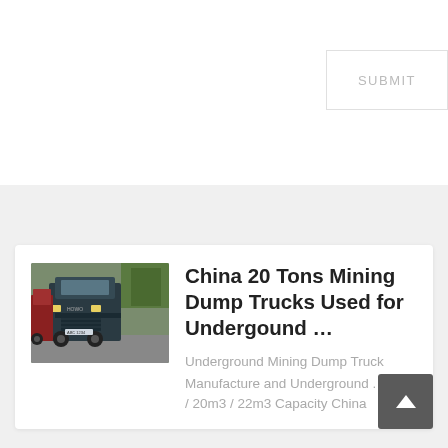SUBMIT
[Figure (photo): Photograph of mining dump trucks parked on a road, viewed from the front, with trees in background]
China 20 Tons Mining Dump Trucks Used for Undergound …
Underground Mining Dump Truck Manufacture and Underground . 18m³ / 20m3 / 22m3 Capacity China